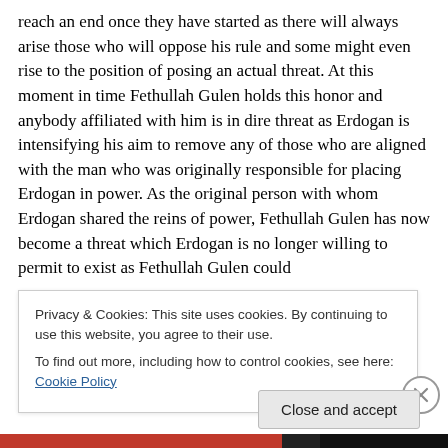reach an end once they have started as there will always arise those who will oppose his rule and some might even rise to the position of posing an actual threat. At this moment in time Fethullah Gulen holds this honor and anybody affiliated with him is in dire threat as Erdogan is intensifying his aim to remove any of those who are aligned with the man who was originally responsible for placing Erdogan in power. As the original person with whom Erdogan shared the reins of power, Fethullah Gulen has now become a threat which Erdogan is no longer willing to permit to exist as Fethullah Gulen could
Privacy & Cookies: This site uses cookies. By continuing to use this website, you agree to their use.
To find out more, including how to control cookies, see here: Cookie Policy